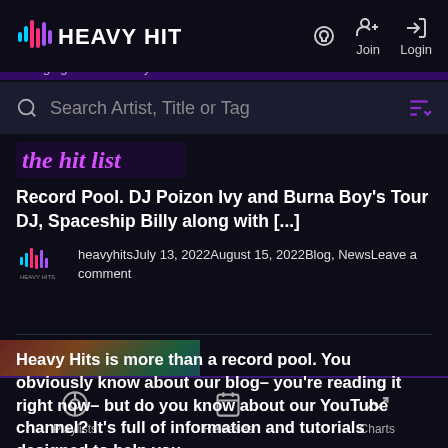HEAVY HITS — Join — Login
Lounging for Burna Boy and his smash record
Search Artist, Title or Tag
[Figure (screenshot): The hit list badge/logo image]
Record Pool. DJ Poizon Ivy and Burna Boy's Tour DJ, Spaceship Billy along with [...]
[Figure (logo): Heavy Hits small logo icon]
heavyhitsJuly 13, 2022August 15, 2022Blog, NewsLeave a comment
Heavy Hits is more than a record pool. You obviously know about our blog– you're reading it right now– but do you know about our YouTube channel? It's full of information and tutorials designed to help you
Playlists — Releases — Charts